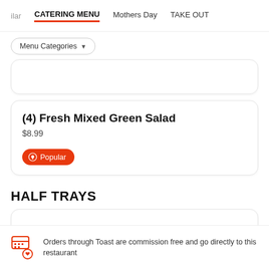ilar  CATERING MENU  Mothers Day  TAKE OUT
Menu Categories ▼
(4) Fresh Mixed Green Salad
$8.99
Popular
HALF TRAYS
Orders through Toast are commission free and go directly to this restaurant